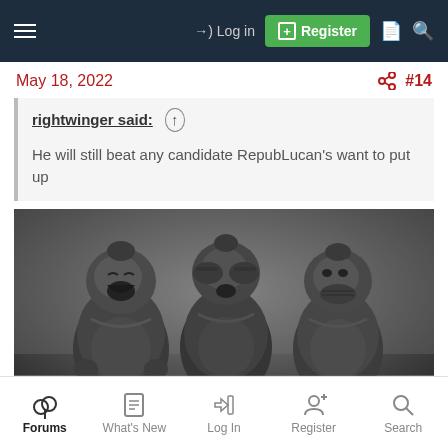Log in | Register
May 18, 2022  #14
rightwinger said: ↑

He will still beat any candidate RepubLucan's want to put up
[Figure (photo): Three dark metallic Buddha figurines in 'see no evil, hear no evil, speak no evil' poses, sitting on a shelf against a blurred grey background.]
Forums | What's New | Log In | Register | Search